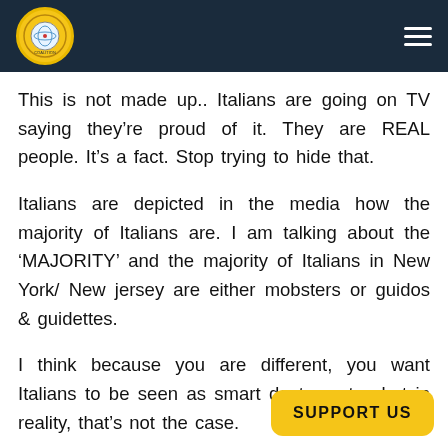[Logo] [Hamburger menu]
This is not made up.. Italians are going on TV saying they’re proud of it. They are REAL people. It’s a fact. Stop trying to hide that.
Italians are depicted in the media how the majority of Italians are. I am talking about the ‘MAJORITY’ and the majority of Italians in New York/ New jersey are either mobsters or guidos & guidettes.
I think because you are different, you want Italians to be seen as smart doctors etc.. but in reality, that’s not the case.
No offence intended, I just think
SUPPORT US